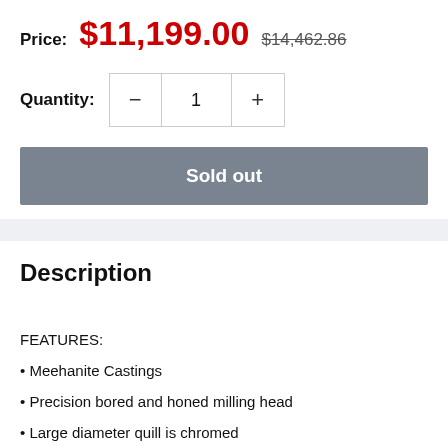Price: $11,199.00  $14,462.86
Quantity: 1
Sold out
Description
FEATURES:
• Meehanite Castings
• Precision bored and honed milling head
• Large diameter quill is chromed